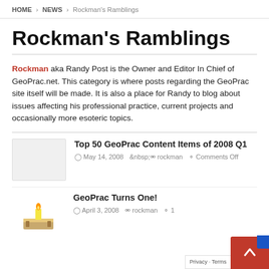HOME > NEWS > Rockman's Ramblings
Rockman's Ramblings
Rockman aka Randy Post is the Owner and Editor In Chief of GeoPrac.net. This category is where posts regarding the GeoPrac site itself will be made. It is also a place for Randy to blog about issues affecting his professional practice, current projects and occasionally more esoteric topics.
Top 50 GeoPrac Content Items of 2008 Q1
May 14, 2008  rockman  Comments Off
GeoPrac Turns One!
April 3, 2008  rockman  1